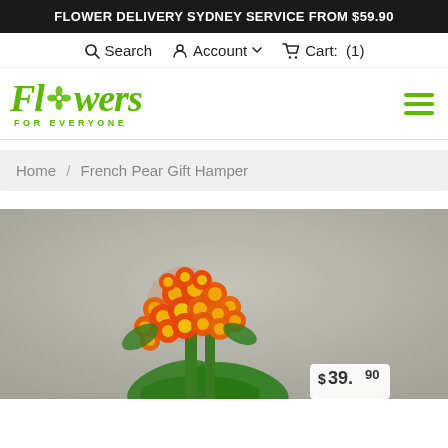FLOWER DELIVERY SYDNEY SERVICE FROM $59.90
Search  Account  Cart: (1)
[Figure (logo): Flowers For Everyone logo in green italic script font with flower icon replacing the 'o' in Flowers, and 'FOR EVERYONE' subtitle below in green block letters]
Home / French Pear Gift Hamper
[Figure (photo): Orange and yellow kalanchoe flowers in a bunch with green leaves and a small white price tag visible at the bottom right, photographed against a grey concrete background]